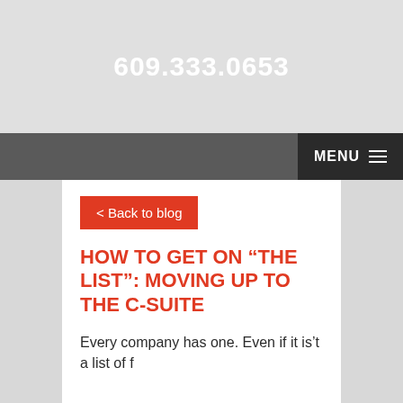609.333.0653
MENU ☰
< Back to blog
HOW TO GET ON “THE LIST”: MOVING UP TO THE C-SUITE
Every company has one. Even if it is’t written down, it is a list of f